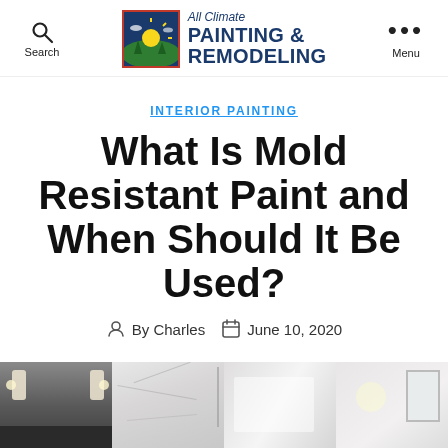All Climate Painting & Remodeling — Search | Menu
INTERIOR PAINTING
What Is Mold Resistant Paint and When Should It Be Used?
By Charles  June 10, 2020
[Figure (photo): Bottom strip showing bathroom interior images]